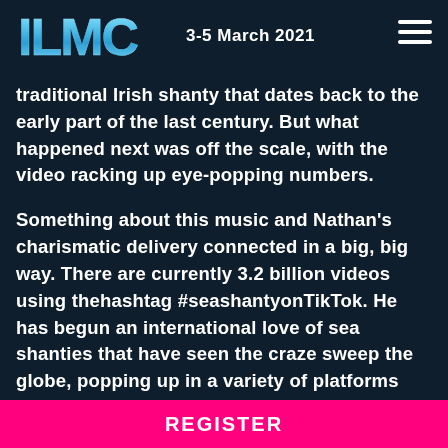ILMC  3-5 March 2021
traditional Irish shanty that dates back to the early part of the last century. But what happened next was off the scale, with the video racking up eye-popping numbers.
Something about this music and Nathan's charismatic delivery connected in a big, big way. There are currently 3.2 billion videos using thehashtag #seashantyonTikTok. He has begun an international love of sea shanties that have seen the craze sweep the globe, popping up in a variety of platforms from football posts to prime-time TV shows.
REGISTER